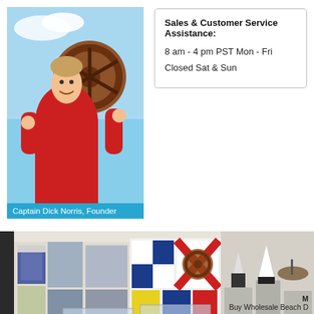[Figure (photo): Photo of Captain Dick Norris, Founder, holding a ship's wheel against a blue sky]
Captain Dick Norris, Founder
Sales & Customer Service Assistance:
8 am - 4 pm PST Mon - Fri
Closed Sat & Sun
[Figure (photo): Interior of a large nautical/marine decor store showing nautical flags, ship models, lighthouse decorations, and maritime items on display]
Visit our 28,000 sq. ft. Co
1841 West Valley Blvd. Alha
Buy Wholesale Beach D